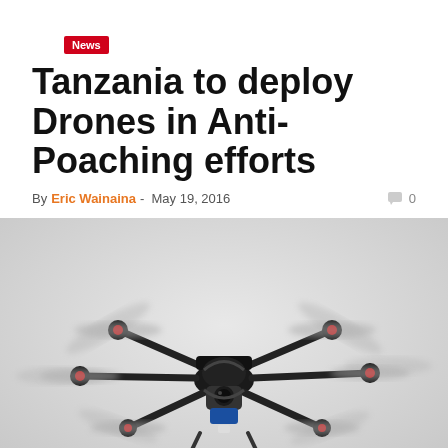News
Tanzania to deploy Drones in Anti-Poaching efforts
By Eric Wainaina - May 19, 2016   0
[Figure (photo): A large multi-rotor drone (octocopter) with camera equipment attached, flying against a light grey sky background.]